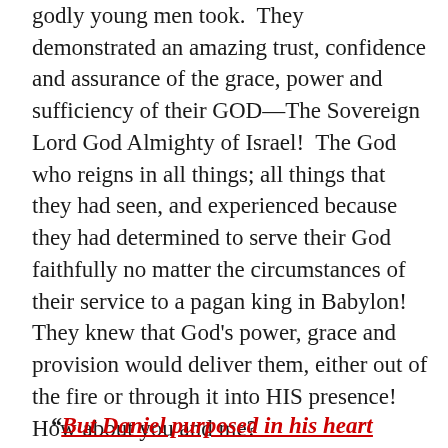godly young men took.  They demonstrated an amazing trust, confidence and assurance of the grace, power and sufficiency of their GOD—The Sovereign Lord God Almighty of Israel!  The God who reigns in all things; all things that they had seen, and experienced because they had determined to serve their God faithfully no matter the circumstances of their service to a pagan king in Babylon!  They knew that God's power, grace and provision would deliver them, either out of the fire or through it into HIS presence!  How about you and me?
“But Daniel purposed in his heart